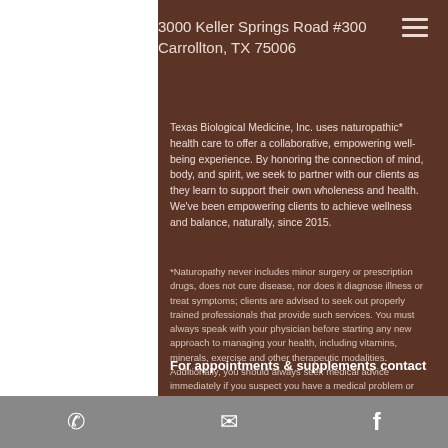3000 Keller Springs Road #300
Carrollton, TX 75006
Texas Biological Medicine, Inc. uses naturopathic* health care to offer a collaborative, empowering well-being experience. By honoring the connection of mind, body, and spirit, we seek to partner with our clients as they learn to support their own wholeness and health. We've been empowering clients to achieve wellness and balance, naturally, since 2015.
*Naturopathy never includes minor surgery or prescription drugs, does not cure disease, nor does it diagnose illness or treat symptoms; clients are advised to seek out properly trained professionals that provide such services. You must always speak with your physician before starting any new approach to managing your health, including vitamins, minerals, exercise and other therapeutic modalities. Additionally, you should always seek medical advice immediately if you suspect you have a medical problem or emergency.
For appointments & supplements contact
office@texasbiologicalmedicine.com
p 972.233.8339
Phone | Email | Facebook